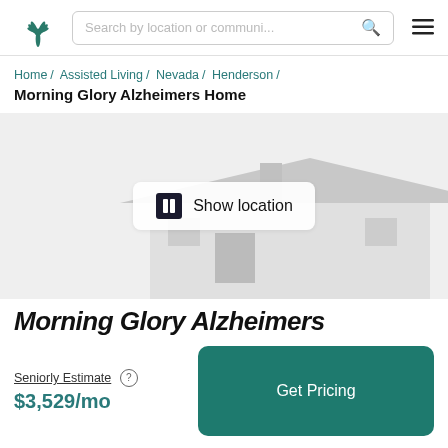Search by location or communi...
Home / Assisted Living / Nevada / Henderson / Morning Glory Alzheimers Home
Morning Glory Alzheimers Home
[Figure (illustration): Placeholder illustration of a house with a 'Show location' button overlay in the center]
Morning Glory Alzheimers
Seniorly Estimate
$3,529/mo
Get Pricing